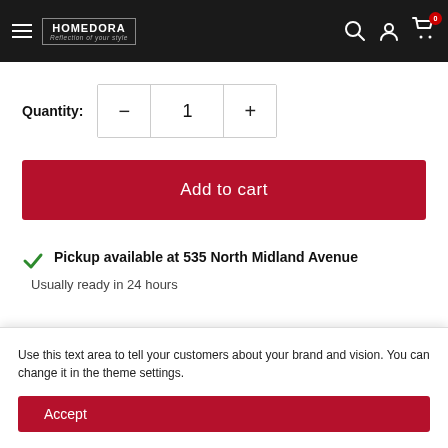HOMEDORA — Reflection of your style
Quantity: 1
Add to cart
Pickup available at 535 North Midland Avenue
Usually ready in 24 hours
Use this text area to tell your customers about your brand and vision. You can change it in the theme settings.
Accept